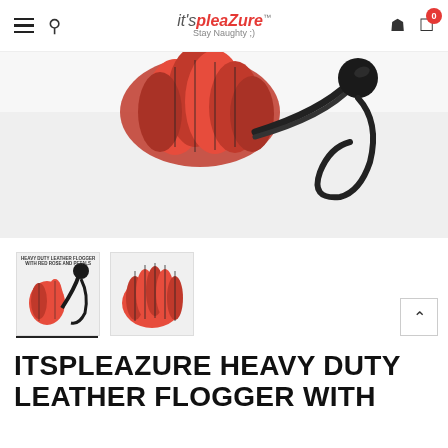it'spleaZure™ Stay Naughty ;)
[Figure (photo): Close-up photo of a heavy duty leather flogger with red rose petal tails and a black braided rope handle with loop, on white background]
[Figure (photo): Thumbnail 1: Full view of heavy duty leather flogger with red rose and petals, showing black braided handle and red tails]
[Figure (photo): Thumbnail 2: Close-up of the red rose petal tails of the leather flogger]
ITSPLEAZURE HEAVY DUTY LEATHER FLOGGER WITH